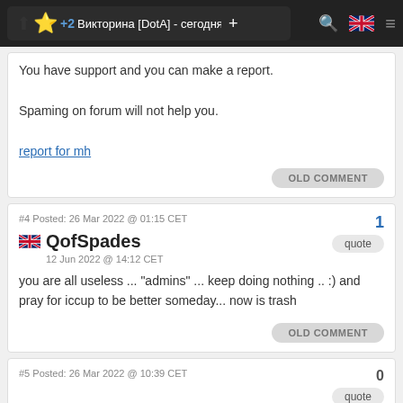+2 Викторина [DotA] - сегодня!... +
You have support and you can make a report.

Spaming on forum will not help you.

report for mh
OLD COMMENT
#4 Posted: 26 Mar 2022 @ 01:15 CET
1
quote
QofSpades
12 Jun 2022 @ 14:12 CET
you are all useless ... "admins" ... keep doing nothing .. :) and pray for iccup to be better someday... now is trash
OLD COMMENT
#5 Posted: 26 Mar 2022 @ 10:39 CET
0
quote